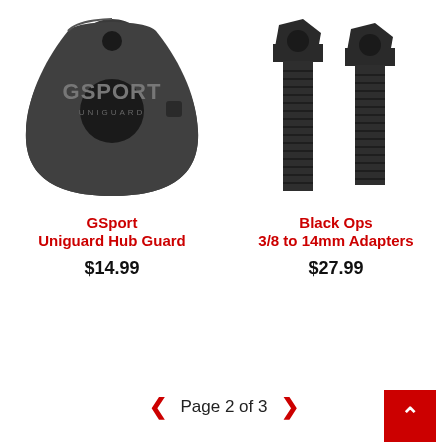[Figure (photo): GSport Uniguard Hub Guard - a triangular black plastic hub guard with a hole at top and GSport Uniguard branding embossed on it]
[Figure (photo): Black Ops 3/8 to 14mm Adapters - two black threaded bolt/adapter pieces side by side]
GSport
Uniguard Hub Guard
$14.99
Black Ops
3/8 to 14mm Adapters
$27.99
Page 2 of 3